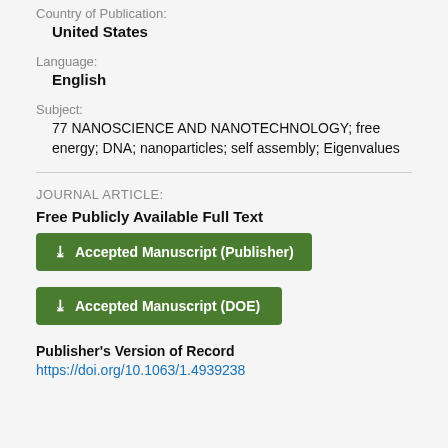Country of Publication:
United States
Language:
English
Subject:
77 NANOSCIENCE AND NANOTECHNOLOGY; free energy; DNA; nanoparticles; self assembly; Eigenvalues
JOURNAL ARTICLE:
Free Publicly Available Full Text
Accepted Manuscript (Publisher)
Accepted Manuscript (DOE)
Publisher's Version of Record
https://doi.org/10.1063/1.4939238